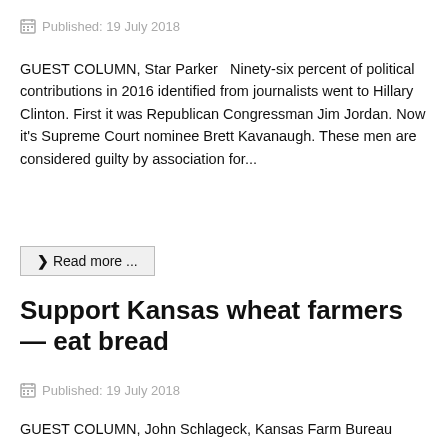Published: 19 July 2018
GUEST COLUMN, Star Parker   Ninety-six percent of political contributions in 2016 identified from journalists went to Hillary Clinton. First it was Republican Congressman Jim Jordan. Now it's Supreme Court nominee Brett Kavanaugh. These men are considered guilty by association for...
Read more ...
Support Kansas wheat farmers — eat bread
Published: 19 July 2018
GUEST COLUMN, John Schlageck, Kansas Farm Bureau